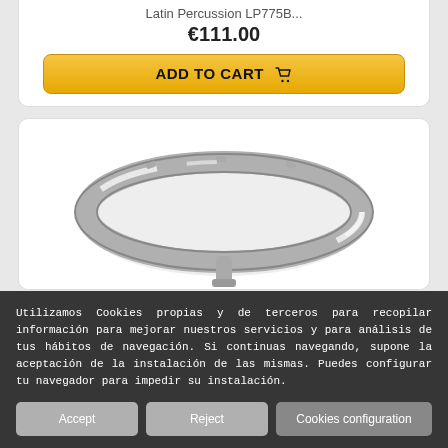Latin Percussion LP775B...
€111.00
ADD TO CART 🛒
[Figure (photo): Chrome metal drum hoop/rim ring for percussion, viewed from above at a slight angle, showing circular chrome ring with mounting lugs]
Utilizamos Cookies propias y de terceros para recopilar información para mejorar nuestros servicios y para análisis de tus hábitos de navegación. Si continuas navegando, supone la aceptación de la instalación de las mismas. Puedes configurar tu navegador para impedir su instalación.
Accept
Reject
Cookies configuration